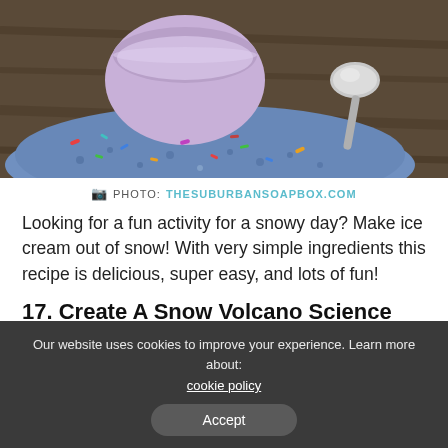[Figure (photo): Close-up photo of ice cream or dessert in a purple bowl on a blue patterned cloth with colorful sprinkles, a spoon nearby, on a wooden surface]
PHOTO: THESUBURBANSOAPBOX.COM
Looking for a fun activity for a snowy day? Make ice cream out of snow! With very simple ingredients this recipe is delicious, super easy, and lots of fun!
17. Create A Snow Volcano Science Experiment
Our website uses cookies to improve your experience. Learn more about: cookie policy
Accept